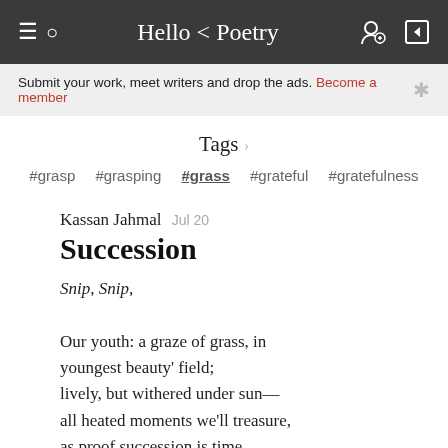Hello < Poetry
Submit your work, meet writers and drop the ads. Become a member
Tags
#grasp #grasping #grass #grateful #gratefulness
Kassan Jahmal  Jul 20
Succession
Snip, Snip,

Our youth: a graze of grass, in
youngest beauty' field;
lively, but withered under sun—
all heated moments we'll treasure,
as proof succession is time,
Continue reading...